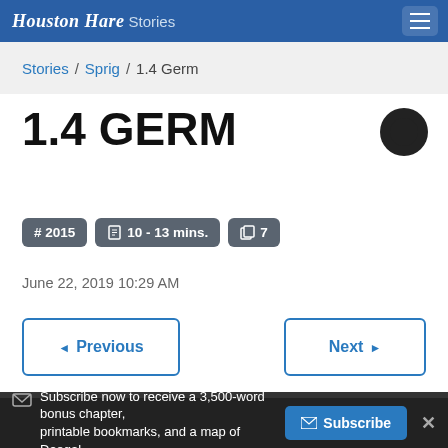Houston Hare Stories
Stories / Sprig / 1.4 Germ
1.4 GERM
# 2015   ⧗ 10 - 13 mins.   □ 7
June 22, 2019 10:29 AM
◄ Previous
Next ►
Rodrigo finished his speech by explaining a large me... child...
Subscribe now to receive a 3,500-word bonus chapter, printable bookmarks, and a map of Daegal